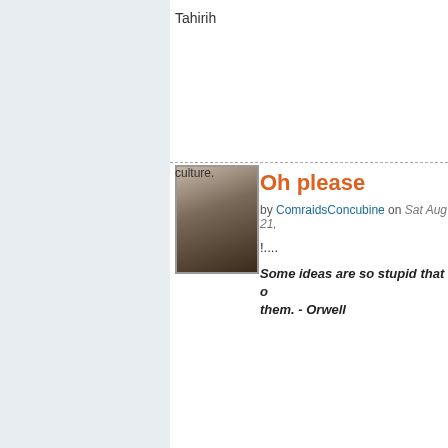Tahirih
Oh please
by ComraidsConcubine on Sat Aug 21,
!....
Some ideas are so stupid that o them. - Orwell
[Figure (photo): Avatar photo of a person with eyes closed, dark hair, close-up face shot]
Faryarm, I agree wit
by Maryam Hojjat on Sat Aug 21, 2010
and I think Bahai religion is one o can choose.  Especially for IRAN should choose two pathways for t Zorasterianism, both are IRANIAN culture.
[Figure (photo): Image showing a sign reading PERSIA on a building or door]